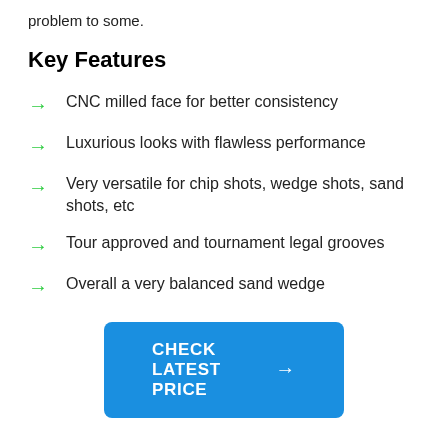problem to some.
Key Features
CNC milled face for better consistency
Luxurious looks with flawless performance
Very versatile for chip shots, wedge shots, sand shots, etc
Tour approved and tournament legal grooves
Overall a very balanced sand wedge
CHECK LATEST PRICE →